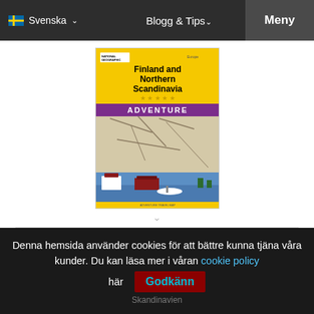Svenska  Blogg & Tips  Meny
[Figure (illustration): National Geographic Adventure Travel Map book cover for Finland and Northern Scandinavia, showing yellow cover with map and scenic photo of waterfront buildings]
Finland Norra Skandinavien NGS Adventure Map
195,00kr
Denna hemsida använder cookies för att bättre kunna tjäna våra kunder. Du kan läsa mer i våran cookie policy här  Godkänn